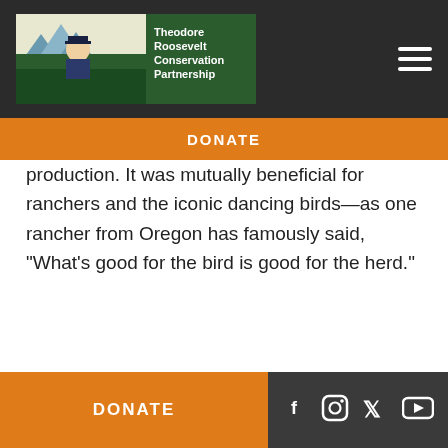Theodore Roosevelt Conservation Partnership
DONATE
production. It was mutually beneficial for ranchers and the iconic dancing birds—as one rancher from Oregon has famously said, “What’s good for the bird is good for the herd.”
[Figure (photo): A pronghorn antelope against a light blue sky background]
DONATE